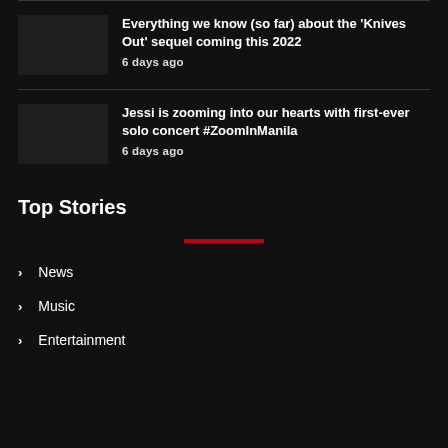Everything we know (so far) about the 'Knives Out' sequel coming this 2022
6 days ago
Jessi is zooming into our hearts with first-ever solo concert #ZoomInManila
6 days ago
Top Stories
News
Music
Entertainment